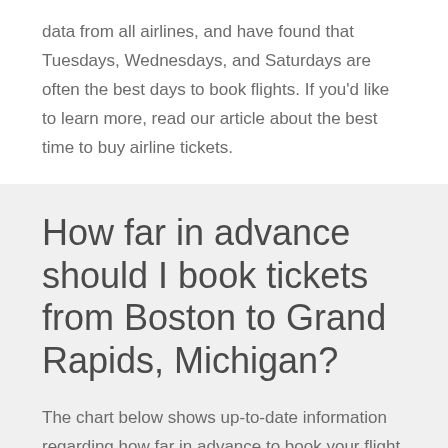data from all airlines, and have found that Tuesdays, Wednesdays, and Saturdays are often the best days to book flights. If you'd like to learn more, read our article about the best time to buy airline tickets.
How far in advance should I book tickets from Boston to Grand Rapids, Michigan?
The chart below shows up-to-date information regarding how far in advance to book your flight from Boston to Grand Rapids, Michigan.